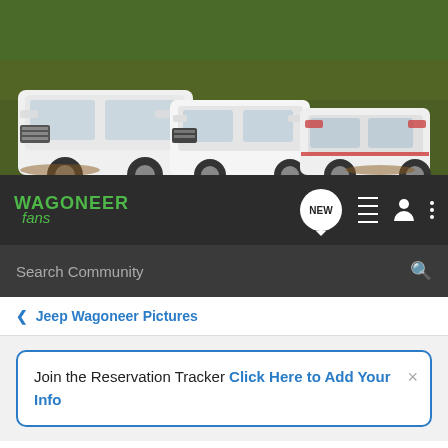[Figure (photo): Hero banner showing three white Jeep Wagoneer/Grand Wagoneer SUVs parked on a dirt path in a green forested setting]
[Figure (screenshot): Navigation bar with Wagoneer Fans logo in green, NEW badge icon, hamburger menu, person icon, and three-dot menu on dark background]
[Figure (screenshot): Search bar with 'Search Community' placeholder text and magnifying glass icon on dark background]
< Jeep Wagoneer Pictures
Join the Reservation Tracker Click Here to Add Your Info
2022 Jeep Grand Wagoneer Spotting Thread